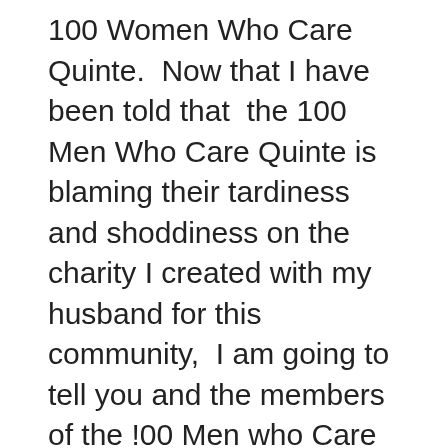100 Women Who Care Quinte.  Now that I have been told that  the 100 Men Who Care Quinte is blaming their tardiness and shoddiness on the charity I created with my husband for this community,  I am going to tell you and the members of the !00 Men who Care Quinte what REALLY happened.

In late February, Tom and I